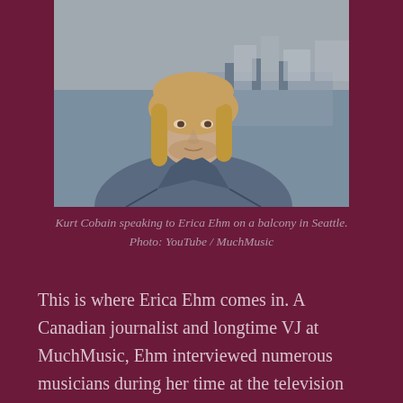[Figure (photo): Black and white / muted color photo of Kurt Cobain with shoulder-length blonde hair and light beard, wearing a denim jacket, standing on a balcony in Seattle with water and a dock visible in the background.]
Kurt Cobain speaking to Erica Ehm on a balcony in Seattle. Photo: YouTube / MuchMusic
This is where Erica Ehm comes in. A Canadian journalist and longtime VJ at MuchMusic, Ehm interviewed numerous musicians during her time at the television station (1985-1994). Her 1993 conversation with Kurt Cobain is one of her most famous interviews, if not the most famous. It was